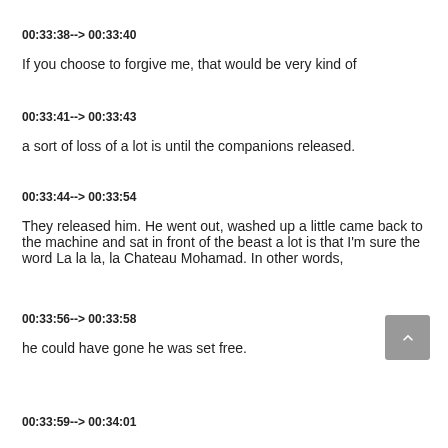00:33:38--> 00:33:40
If you choose to forgive me, that would be very kind of
00:33:41--> 00:33:43
a sort of loss of a lot is until the companions released.
00:33:44--> 00:33:54
They released him. He went out, washed up a little came back to the machine and sat in front of the beast a lot is that I'm sure the word La la la, la Chateau Mohamad. In other words,
00:33:56--> 00:33:58
he could have gone he was set free.
00:33:59--> 00:34:01